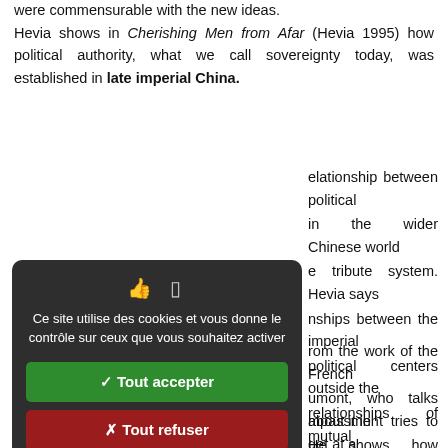were commensurable with the new ideas.
Hevia shows in Cherishing Men from Afar (Hevia 1995) how political authority, what we call sovereignty today, was established in late imperial China.
[Figure (screenshot): Cookie consent dialog overlay with dark background. Contains icons, French text 'Ce site utilise des cookies et vous donne le contrôle sur ceux que vous souhaitez activer', green 'Tout accepter' button, red 'Tout refuser' button, white 'Personnaliser' button, and 'Politique de confidentialité' link.]
...relationship between political ... in the wider Chinese world ...e tribute system. Hevia says ...nships between the imperial ...political centers outside the ...relationships of mutual
...rom the work of the French ...umont, who talks about it in ...He shows how religion ...opposed to the political
...mpassment tries to get at a ...have a vocabulary, because